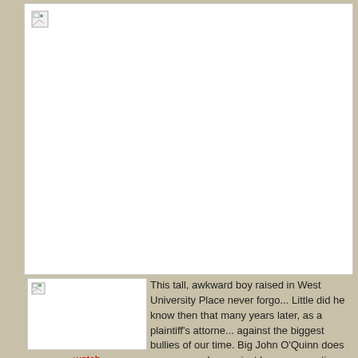[Figure (photo): Large image placeholder (broken/unloaded image) occupying the upper portion of the page]
[Figure (photo): Small thumbnail image placeholder (broken/unloaded image) in the bottom-left area]
watch the video
This tall, awkward boy raised in West University Place never forgo... Little did he know then that many years later, as a plaintiff's attorne... against the biggest bullies of our time. Big John O'Quinn does eve... crusades against large corporations and big businesses. He is un... law, not just in Houston but also in the country. If there is a major c... O'Quinn has a hand in it.